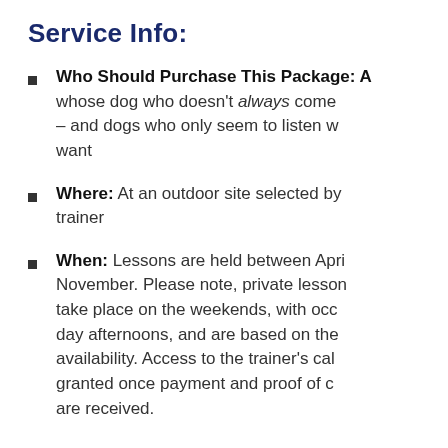Service Info:
Who Should Purchase This Package: A... whose dog who doesn't always come – and dogs who only seem to listen w... want
Where: At an outdoor site selected by... trainer
When: Lessons are held between Apri... November. Please note, private lesson... take place on the weekends, with occ... day afternoons, and are based on the... availability. Access to the trainer's cal... granted once payment and proof of c... are received.